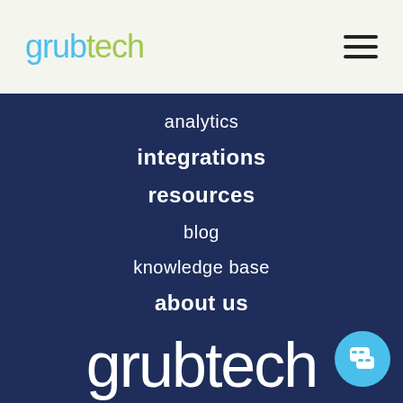[Figure (logo): Grubtech logo in header: 'grub' in light blue, 'tech' in green, with hamburger menu icon on right]
analytics
integrations
resources
blog
knowledge base
about us
[Figure (logo): Grubtech logo in white at bottom of dark navy navigation panel, with chat bubble icon bottom right]